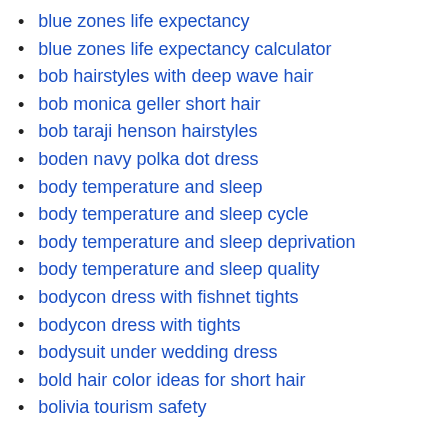blue zones life expectancy
blue zones life expectancy calculator
bob hairstyles with deep wave hair
bob monica geller short hair
bob taraji henson hairstyles
boden navy polka dot dress
body temperature and sleep
body temperature and sleep cycle
body temperature and sleep deprivation
body temperature and sleep quality
bodycon dress with fishnet tights
bodycon dress with tights
bodysuit under wedding dress
bold hair color ideas for short hair
bolivia tourism safety